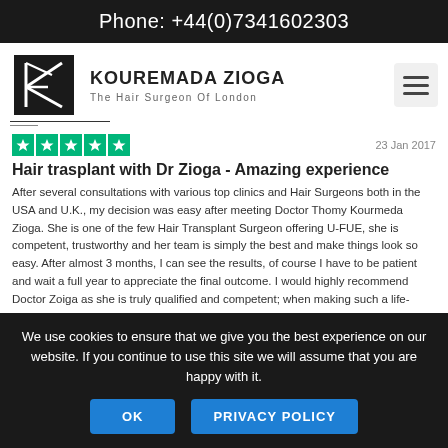Phone: +44(0)7341602303
[Figure (logo): Kouremada Zioga logo with geometric K shape in black square, brand name KOUREMADA ZIOGA and tagline The Hair Surgeon Of London]
23 Jan 2017
Hair trasplant with Dr Zioga - Amazing experience
After several consultations with various top clinics and Hair Surgeons both in the USA and U.K., my decision was easy after meeting Doctor Thomy Kourmeda Zioga. She is one of the few Hair Transplant Surgeon offering U-FUE, she is competent, trustworthy and her team is simply the best and make things look so easy. After almost 3 months, I can see the results, of course I have to be patient and wait a full year to appreciate the final outcome. I would highly recommend Doctor Zoiga as she is truly qualified and competent; when making such a life-changing decision, you
We use cookies to ensure that we give you the best experience on our website. If you continue to use this site we will assume that you are happy with it.